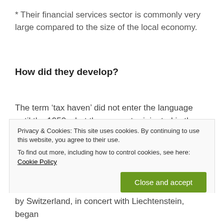* Their financial services sector is commonly very large compared to the size of the local economy.
How did they develop?
The term ‘tax haven’ did not enter the language until the 1950s, but the concept originated in the 19th century, when the American state of New Jersey eased its business-registration and tax laws to drum up revenues from incorporation during a fiscal squeeze. A few years later, Delaware copied its...
Privacy & Cookies: This site uses cookies. By continuing to use this website, you agree to their use. To find out more, including how to control cookies, see here: Cookie Policy
by Switzerland, in concert with Liechtenstein, began